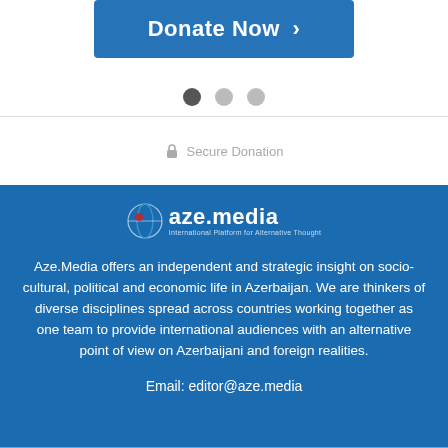[Figure (other): Donate Now button with right arrow chevron on blue background]
[Figure (other): Pagination dots: one dark active dot and two lighter inactive dots]
Secure Donation
[Figure (logo): Aze.media logo with circular icon and tagline: International Platform for Alternative Thought]
Aze.Media offers an independent and strategic insight on socio-cultural, political and economic life in Azerbaijan. We are thinkers of diverse disciplines spread across countries working together as one team to provide international audiences with an alternative point of view on Azerbaijani and foreign realities.
Email: editor@aze.media